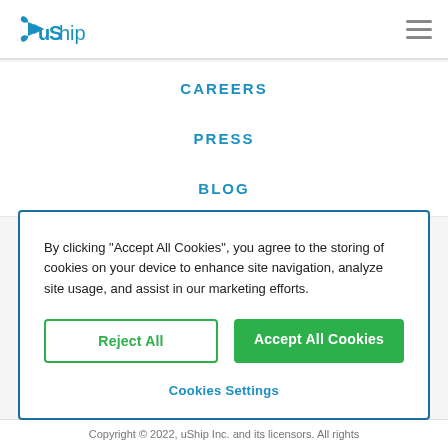uShip
CAREERS
PRESS
BLOG
By clicking "Accept All Cookies", you agree to the storing of cookies on your device to enhance site navigation, analyze site usage, and assist in our marketing efforts.
Reject All
Accept All Cookies
Cookies Settings
Copyright © 2022, uShip Inc. and its licensors. All rights